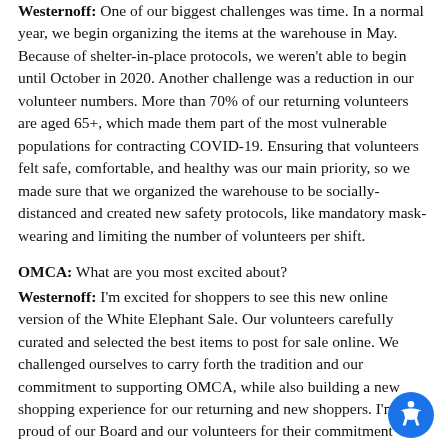Westernoff: One of our biggest challenges was time. In a normal year, we begin organizing the items at the warehouse in May. Because of shelter-in-place protocols, we weren't able to begin until October in 2020. Another challenge was a reduction in our volunteer numbers. More than 70% of our returning volunteers are aged 65+, which made them part of the most vulnerable populations for contracting COVID-19. Ensuring that volunteers felt safe, comfortable, and healthy was our main priority, so we made sure that we organized the warehouse to be socially-distanced and created new safety protocols, like mandatory mask-wearing and limiting the number of volunteers per shift.
OMCA: What are you most excited about?
Westernoff: I'm excited for shoppers to see this new online version of the White Elephant Sale. Our volunteers carefully curated and selected the best items to post for sale online. We challenged ourselves to carry forth the tradition and our commitment to supporting OMCA, while also building a new shopping experience for our returning and new shoppers. I'm so proud of our Board and our volunteers for their commitment under these extraordinary